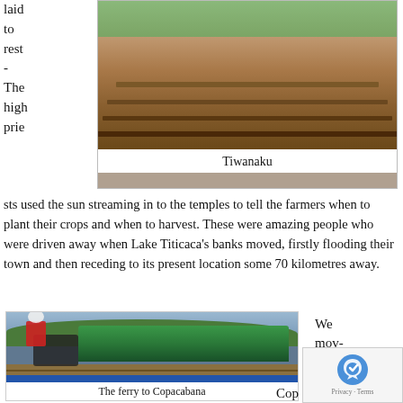laid to rest - The high priests used the sun streaming in to the temples to tell the farmers when to plant their crops and when to harvest. These were amazing people who were driven away when Lake Titicaca's banks moved, firstly flooding their town and then receding to its present location some 70 kilometres away.
[Figure (photo): Aerial or elevated view of Tiwanaku ruins showing stone structures and terraces with green vegetation]
Tiwanaku
[Figure (photo): Motorcyclist in full gear standing next to a loaded motorcycle on a wooden ferry platform, with a colorful green bus behind and green hills in the background]
The ferry to Copacabana
We mov- Cop